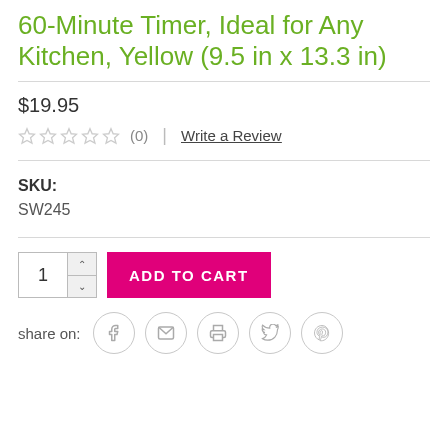60-Minute Timer, Ideal for Any Kitchen, Yellow (9.5 in x 13.3 in)
$19.95
★★★★★ (0) | Write a Review
SKU:
SW245
1  ADD TO CART
share on: